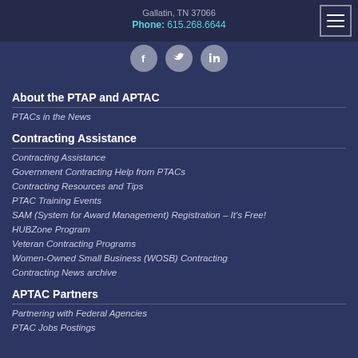Gallatin, TN 37066
Phone: 615.268.6644
[Figure (other): Social media icons: Facebook, Twitter, LinkedIn]
About the PTAP and APTAC
PTACs in the News
Contracting Assistance
Contracting Assistance
Government Contracting Help from PTACs
Contracting Resources and Tips
PTAC Training Events
SAM (System for Award Management) Registration – It's Free!
HUBZone Program
Veteran Contracting Programs
Women-Owned Small Business (WOSB) Contracting
Contracting News archive
APTAC Partners
Partnering with Federal Agencies
PTAC Jobs Postings